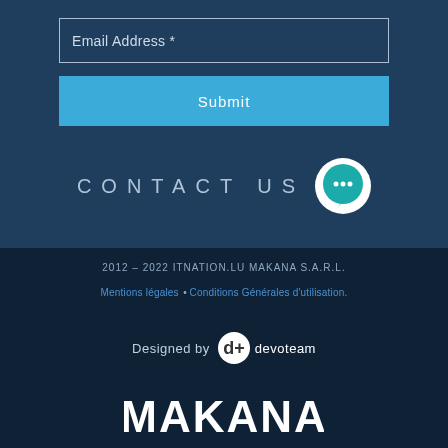Email Address *
Submit
CONTACT US
2012 – 2022 ITNATION.LU MAKANA S.A.R.L.
Mentions légales • Conditions Générales d'utilisation.
Designed by devoteam
[Figure (logo): MAKANA logo in white lettering]